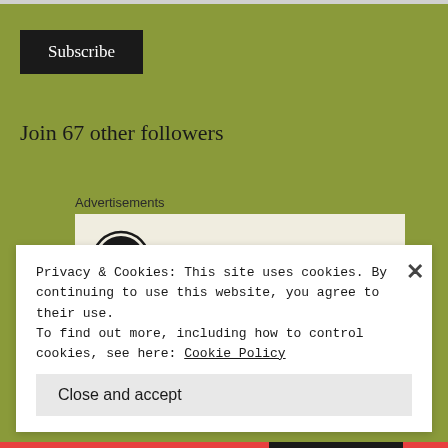Subscribe
Join 67 other followers
Advertisements
[Figure (logo): WordPress logo — circular W mark in black and white]
Privacy & Cookies: This site uses cookies. By continuing to use this website, you agree to their use.
To find out more, including how to control cookies, see here: Cookie Policy
Close and accept